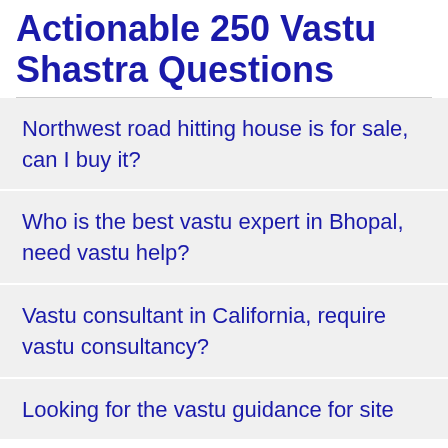Actionable 250 Vastu Shastra Questions
Northwest road hitting house is for sale, can I buy it?
Who is the best vastu expert in Bhopal, need vastu help?
Vastu consultant in California, require vastu consultancy?
Looking for the vastu guidance for site